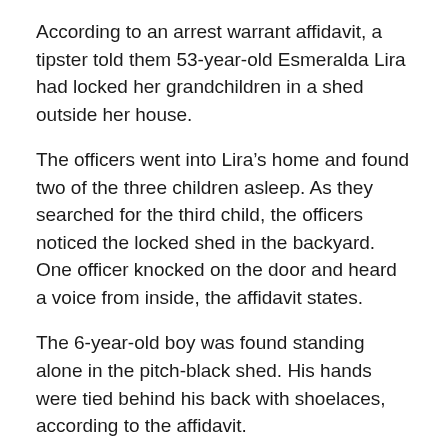According to an arrest warrant affidavit, a tipster told them 53-year-old Esmeralda Lira had locked her grandchildren in a shed outside her house.
The officers went into Lira’s home and found two of the three children asleep. As they searched for the third child, the officers noticed the locked shed in the backyard. One officer knocked on the door and heard a voice from inside, the affidavit states.
The 6-year-old boy was found standing alone in the pitch-black shed. His hands were tied behind his back with shoelaces, according to the affidavit.
The officers carried him to safety and untied him. Paramedics checked him out but did not take him to the hospital, police said.